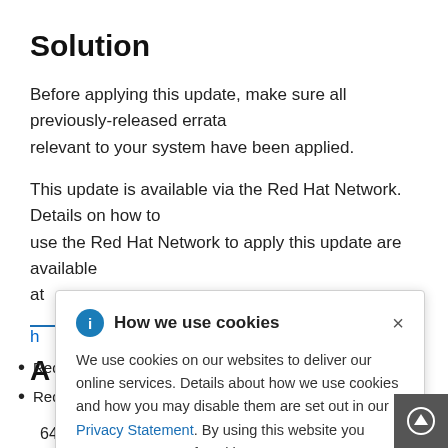Solution
Before applying this update, make sure all previously-released errata relevant to your system have been applied.
This update is available via the Red Hat Network. Details on how to use the Red Hat Network to apply this update are available at
h[truncated link]g [external link icon]
A
[truncated] 64
[truncated] 64
[Figure (screenshot): Cookie consent modal overlay with 'How we use cookies' title, info icon, close button (×), descriptive text about cookie usage, a Privacy Statement link, and agreement text.]
Red Hat Enterprise Linux Server 5 i386
Red Hat Enterprise Linux for x86_64 - Extended